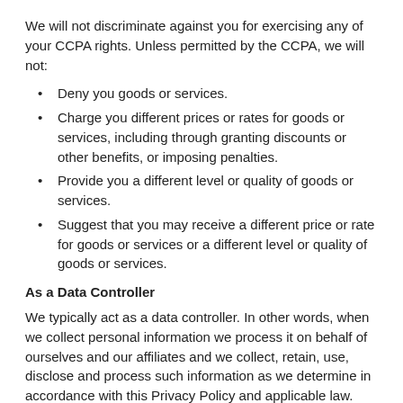We will not discriminate against you for exercising any of your CCPA rights. Unless permitted by the CCPA, we will not:
Deny you goods or services.
Charge you different prices or rates for goods or services, including through granting discounts or other benefits, or imposing penalties.
Provide you a different level or quality of goods or services.
Suggest that you may receive a different price or rate for goods or services or a different level or quality of goods or services.
As a Data Controller
We typically act as a data controller. In other words, when we collect personal information we process it on behalf of ourselves and our affiliates and we collect, retain, use, disclose and process such information as we determine in accordance with this Privacy Policy and applicable law.
As a Service Provider
In certain instances, our clients may hire us to provide services on behalf of the client. In such case, we would process personal information under the direction of that client as a service provider, and we have no direct